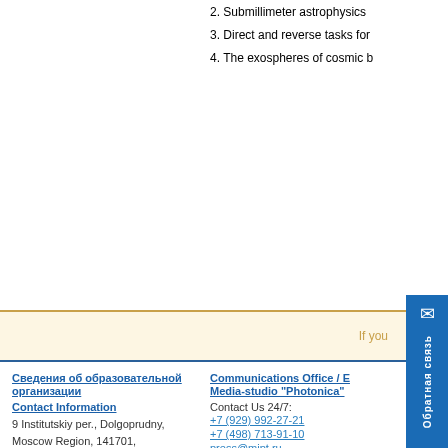2. Submillimeter astrophysics
3. Direct and reverse tasks for
4. The exospheres of cosmic b
If you
Сведения об образовательной организации
Communications Office / E Media-studio "Photonica"
Contact Information
9 Institutskiy per., Dolgoprudny, Moscow Region, 141701, Russian Federation
+7 (929) 992-27-21
+7 (498) 713-91-10
press@mipt.ru
press@phystech.edu
events@phystech.edu
+7 (495) 408-45-54
info@mipt.ru
How to reach us?
Contact Us 24/7: